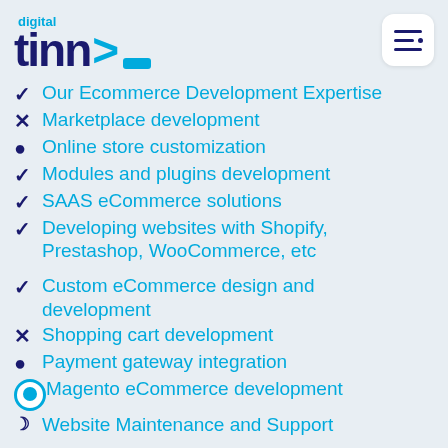[Figure (logo): Digital Tinn logo with teal arrow and cursor]
Our Ecommerce Development Expertise
Marketplace development
Online store customization
Modules and plugins development
SAAS eCommerce solutions
Developing websites with Shopify, Prestashop, WooCommerce, etc
Custom eCommerce design and development
Shopping cart development
Payment gateway integration
Magento eCommerce development
Website Maintenance and Support